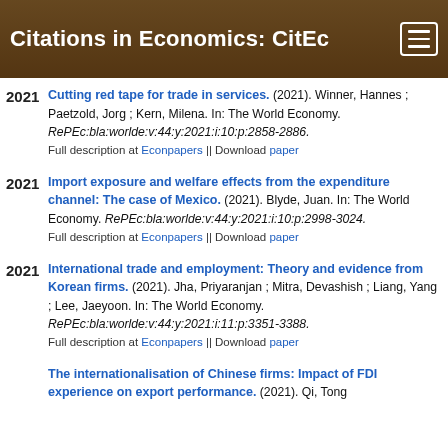Citations in Economics: CitEc
Cutting red tape for trade in services. (2021). Winner, Hannes ; Paetzold, Jorg ; Kern, Milena. In: The World Economy. RePEc:bla:worlde:v:44:y:2021:i:10:p:2858-2886. Full description at Econpapers || Download paper
Import exposure and welfare effects from the expenditure channel: The case of Mexico. (2021). Blyde, Juan. In: The World Economy. RePEc:bla:worlde:v:44:y:2021:i:10:p:2998-3024. Full description at Econpapers || Download paper
International trade and employment: Theory and evidence from Korean firms. (2021). Jha, Priyaranjan ; Mitra, Devashish ; Liang, Yang ; Lee, Jaeyoon. In: The World Economy. RePEc:bla:worlde:v:44:y:2021:i:11:p:3351-3388. Full description at Econpapers || Download paper
The internationalisation of Chinese firms: Impact of FDI experience on export performance. (2021). Qi, Tong